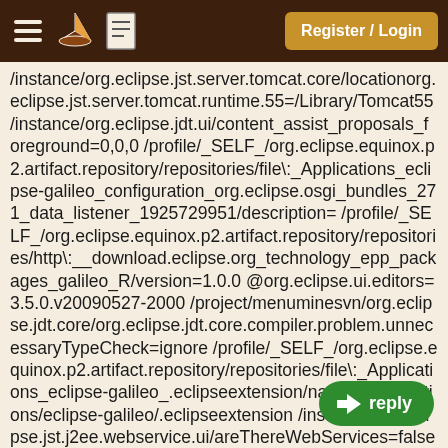Register / Login
/instance/org.eclipse.jst.server.tomcat.core/locationorg.eclipse.jst.server.tomcat.runtime.55=/Library/Tomcat55 /instance/org.eclipse.jdt.ui/content_assist_proposals_foreground=0,0,0 /profile/_SELF_/org.eclipse.equinox.p2.artifact.repository/repositories/file\:_Applications_eclipse-galileo_configuration_org.eclipse.osgi_bundles_271_data_listener_1925729951/description= /profile/_SELF_/org.eclipse.equinox.p2.artifact.repository/repositories/http\:__download.eclipse.org_technology_epp_packages_galileo_R/version=1.0.0 @org.eclipse.ui.editors=3.5.0.v20090527-2000 /project/menuminesvn/org.eclipse.jdt.core/org.eclipse.jdt.core.compiler.problem.unnecessaryTypeCheck=ignore /profile/_SELF_/org.eclipse.equinox.p2.artifact.repository/repositories/file\:_Applications_eclipse-galileo_.eclipseextension/name=/Applications/eclipse-galileo/.eclipseextension /instance/org.eclipse.jst.j2ee.webservice.ui/areThereWebServices=false